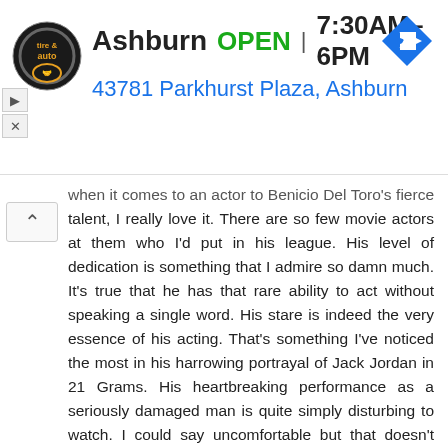[Figure (other): Advertisement banner for a tire and auto service shop. Logo on left, text shows 'Ashburn  OPEN | 7:30AM–6PM' and '43781 Parkhurst Plaza, Ashburn', with a blue navigation arrow icon on the right.]
when it comes to an actor to Benicio Del Toro's fierce talent, I really love it. There are so few movie actors at them who I'd put in his league. His level of dedication is something that I admire so damn much. It's true that he has that rare ability to act without speaking a single word. His stare is indeed the very essence of his acting. That's something I've noticed the most in his harrowing portrayal of Jack Jordan in 21 Grams. His heartbreaking performance as a seriously damaged man is quite simply disturbing to watch. I could say uncomfortable but that doesn't quite sum up the level of emotional truth he conveys there, especially when Naomi Watts' character (SPOILER ALERT) tries to kill him with the wooden lamp. I mean this film is one of the most well-acted films ever anyway but his work is really a force of nature. Really powerful stuff. It tops everything he's done for me. And that truly says a lot because I've pretty much seen his entire filmography (run out of superlatives when it comes to his